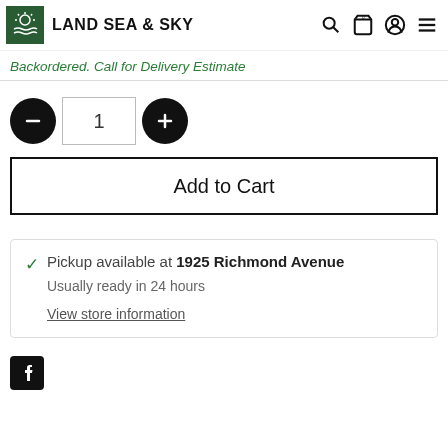LAND SEA & SKY
Backordered. Call for Delivery Estimate
1
Add to Cart
Pickup available at 1925 Richmond Avenue
Usually ready in 24 hours
View store information